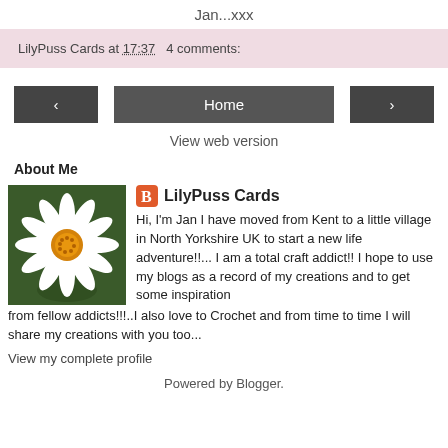Jan...xxx
LilyPuss Cards at 17:37   4 comments:
‹
Home
›
View web version
About Me
[Figure (photo): White daisy flower with orange center on green background]
LilyPuss Cards
Hi, I'm Jan I have moved from Kent to a little village in North Yorkshire UK to start a new life adventure!!...I am a total craft addict!! I hope to use my blogs as a record of my creations and to get some inspiration from fellow addicts!!!..I also love to Crochet and from time to time I will share my creations with you too...
View my complete profile
Powered by Blogger.